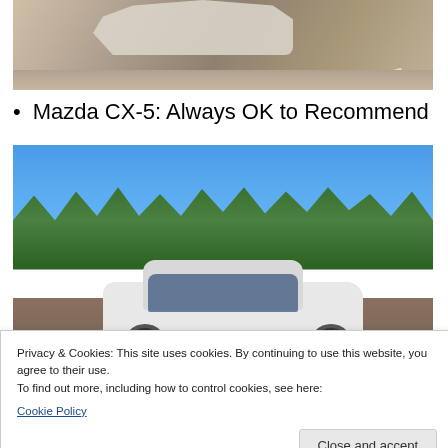[Figure (photo): Partial view of a car (white/light colored SUV) on a road, cropped at top]
Mazda CX-5: Always OK to Recommend
[Figure (photo): White Mazda CX-5 SUV parked outdoors with green trees and blue sky in background]
Privacy & Cookies: This site uses cookies. By continuing to use this website, you agree to their use.
To find out more, including how to control cookies, see here:
Cookie Policy
Close and accept
[Figure (other): Social media icons: Facebook, Twitter, Pinterest, Email]